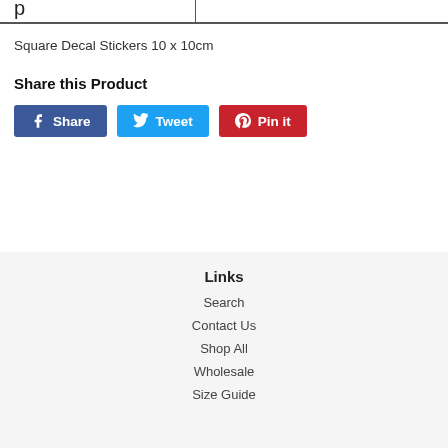Square Decal Stickers 10 x 10cm
Share this Product
Share  Tweet  Pin it
Links
Search
Contact Us
Shop All
Wholesale
Size Guide